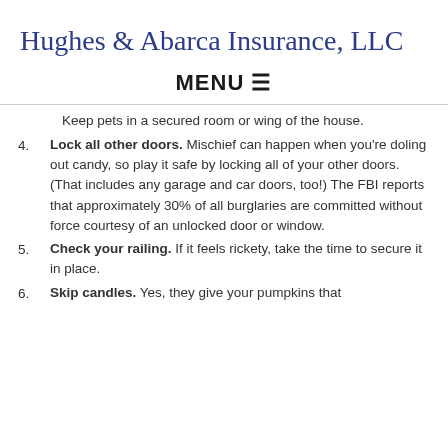Hughes & Abarca Insurance, LLC
MENU ☰
Keep pets in a secured room or wing of the house.
4. Lock all other doors. Mischief can happen when you're doling out candy, so play it safe by locking all of your other doors. (That includes any garage and car doors, too!) The FBI reports that approximately 30% of all burglaries are committed without force courtesy of an unlocked door or window.
5. Check your railing. If it feels rickety, take the time to secure it in place.
6. Skip candles. Yes, they give your pumpkins that